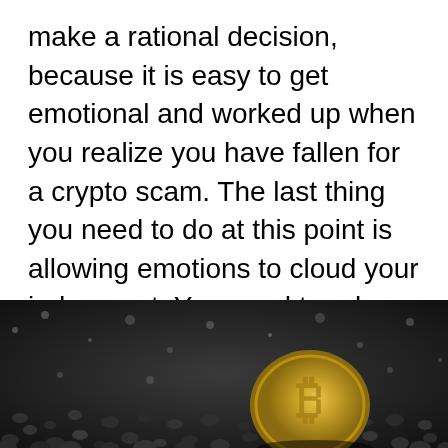make a rational decision, because it is easy to get emotional and worked up when you realize you have fallen for a crypto scam. The last thing you need to do at this point is allowing emotions to cloud your judgement. You need to relax and think clearly in order to make the right decisions and take the necessary actions in trying to recover lost bitcoin or any other crypto.
[Figure (photo): A gold Bitcoin coin partially buried in dark rocky/gravelly material, with bokeh background. Dark and moody photo showing the Bitcoin symbol on the coin.]